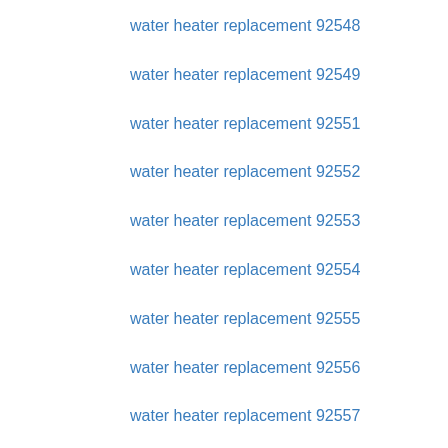water heater replacement 92548
water heater replacement 92549
water heater replacement 92551
water heater replacement 92552
water heater replacement 92553
water heater replacement 92554
water heater replacement 92555
water heater replacement 92556
water heater replacement 92557